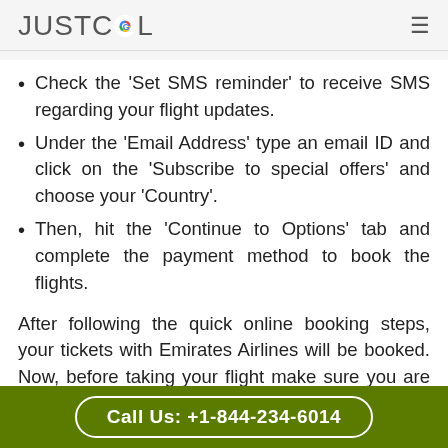JUSTCOL
Check the ‘Set SMS reminder’ to receive SMS regarding your flight updates.
Under the ‘Email Address’ type an email ID and click on the ‘Subscribe to special offers’ and choose your ‘Country’.
Then, hit the ‘Continue to Options’ tab and complete the payment method to book the flights.
After following the quick online booking steps, your tickets with Emirates Airlines will be booked. Now, before taking your flight make sure you are done with the formalities. Call on the Emirates Airlines Office
Call Us: +1-844-234-6014